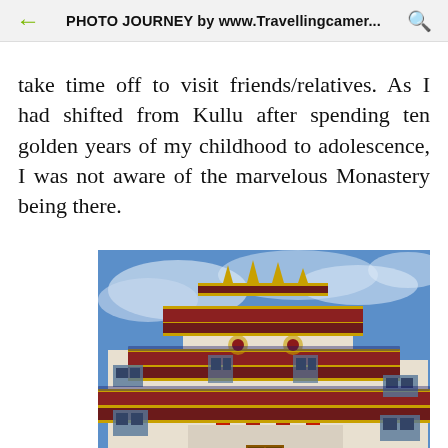PHOTO JOURNEY by www.Travellingcamer...
take time off to visit friends/relatives. As I had shifted from Kullu after spending ten golden years of my childhood to adolescence, I was not aware of the marvelous Monastery being there.
[Figure (photo): A Tibetan Buddhist monastery with ornate multi-tiered architecture featuring dark red and gold decorative eaves, white walls, and colorful columns, photographed from below against a blue sky with clouds.]